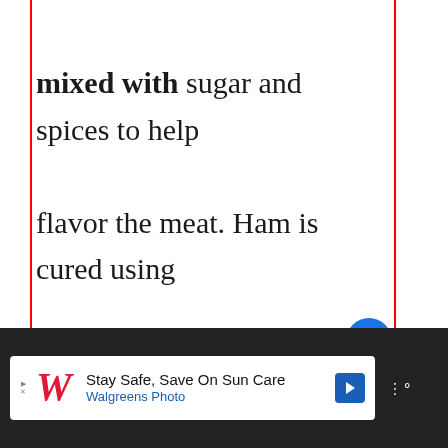mixed with sugar and spices to help flavor the meat. Ham is cured using different methods depending on what part of the pig it comes from.
[Figure (other): Heart (favorite) button - blue circular button with white heart icon]
[Figure (other): Share button - white circular button with share icon]
[Figure (other): What's Next panel showing a food image thumbnail with text 'What happens if you eat...']
[Figure (other): Advertisement banner for Walgreens Photo - Stay Safe, Save On Sun Care]